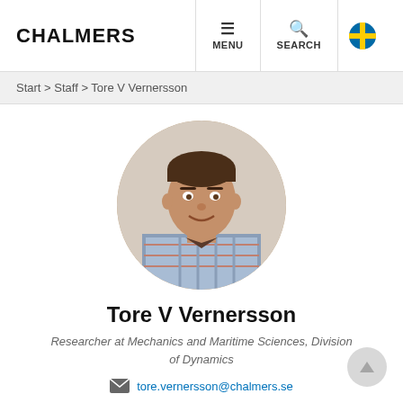CHALMERS | MENU | SEARCH
Start > Staff > Tore V Vernersson
[Figure (photo): Circular profile photo of Tore V Vernersson, a man in a plaid shirt, photographed against a light wall background]
Tore V Vernersson
Researcher at Mechanics and Maritime Sciences, Division of Dynamics
tore.vernersson@chalmers.se